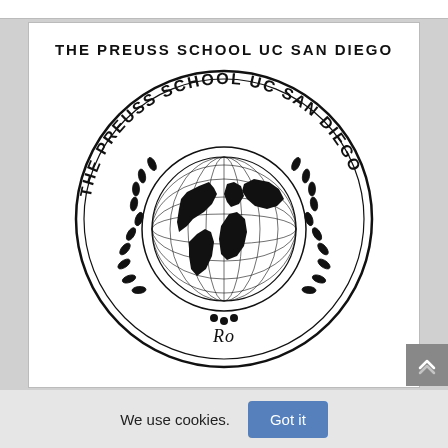[Figure (logo): The Preuss School UC San Diego official seal/logo — circular emblem with text 'THE PREUSS SCHOOL UC SAN DIEGO' arranged in a circle around a globe with laurel wreath decoration, black and white]
THE PREUSS SCHOOL UC SAN DIEGO
We use cookies.
Got it